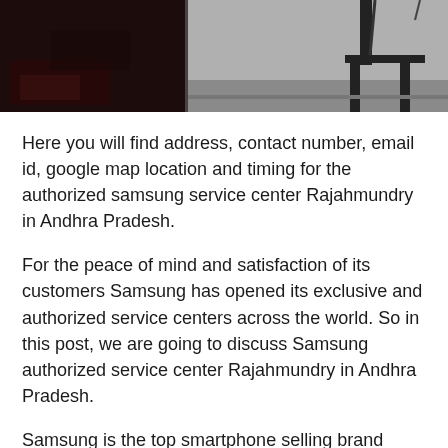[Figure (photo): Top portion of a photo strip showing two side-by-side images: left dark interior scene, right gray room with chairs and cords]
Here you will find address, contact number, email id, google map location and timing for the authorized samsung service center Rajahmundry in Andhra Pradesh.
For the peace of mind and satisfaction of its customers Samsung has opened its exclusive and authorized service centers across the world. So in this post, we are going to discuss Samsung authorized service center Rajahmundry in Andhra Pradesh.
Samsung is the top smartphone selling brand across the entire globe. And it is second largest smartphone selling brand in India.